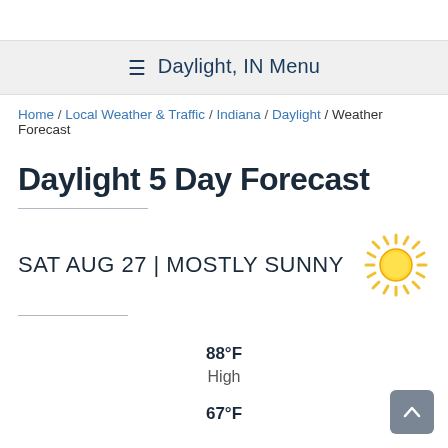☰ Daylight, IN Menu
Home / Local Weather & Traffic / Indiana / Daylight / Weather Forecast
Daylight 5 Day Forecast
SAT AUG 27 | MOSTLY SUNNY
88°F
High
67°F